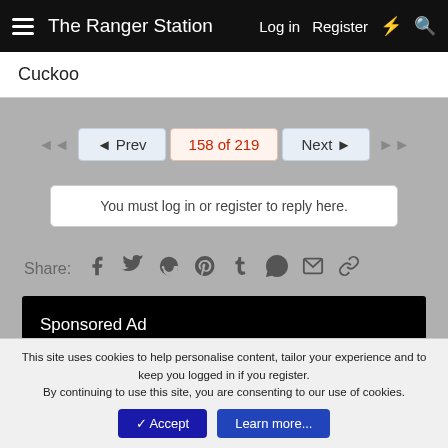The Ranger Station  Log in  Register
Cuckoo
◄Prev  158 of 219  Next►
You must log in or register to reply here.
Share:
[Figure (other): Sponsored Ad black banner]
[Figure (other): Sponsored Ad black banner]
< General Discussions
This site uses cookies to help personalise content, tailor your experience and to keep you logged in if you register.
By continuing to use this site, you are consenting to our use of cookies.